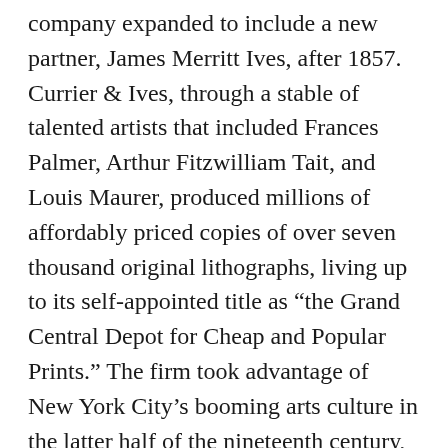company expanded to include a new partner, James Merritt Ives, after 1857. Currier & Ives, through a stable of talented artists that included Frances Palmer, Arthur Fitzwilliam Tait, and Louis Maurer, produced millions of affordably priced copies of over seven thousand original lithographs, living up to its self-appointed title as “the Grand Central Depot for Cheap and Popular Prints.” The firm took advantage of New York City’s booming arts culture in the latter half of the nineteenth century, but its output was not seen as fine art by critics, nor was it intended as such. Its prints were first and foremost commodities, and the choice of subjects was often determined by popularity and sales figures. Currier & Ives perpetuated Victorian ideals in its depictions of family, history, politics, and urban and suburban life… concepts that persist today partly as a result